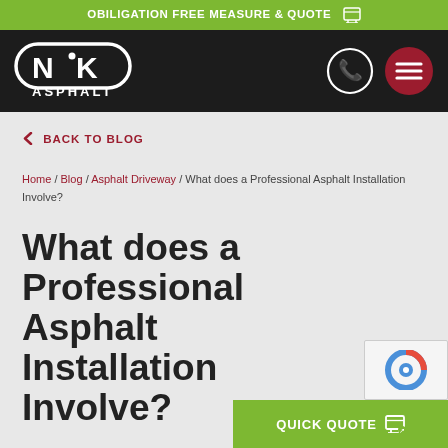OBILIGATION FREE MEASURE & QUOTE
[Figure (logo): NK Asphalt logo — white stylized N and K letters with ASPHALT text below, on dark background]
[Figure (other): Phone icon circle (white outline) and red hamburger menu circle]
< BACK TO BLOG
Home / Blog / Asphalt Driveway / What does a Professional Asphalt Installation Involve?
What does a Professional Asphalt Installation Involve?
[Figure (logo): reCAPTCHA logo badge]
QUICK QUOTE